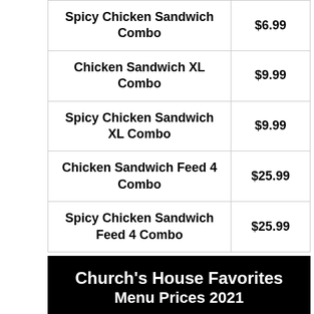| Item | Price |
| --- | --- |
| Spicy Chicken Sandwich Combo | $6.99 |
| Chicken Sandwich XL Combo | $9.99 |
| Spicy Chicken Sandwich XL Combo | $9.99 |
| Chicken Sandwich Feed 4 Combo | $25.99 |
| Spicy Chicken Sandwich Feed 4 Combo | $25.99 |
Church's House Favorites Menu Prices 2021